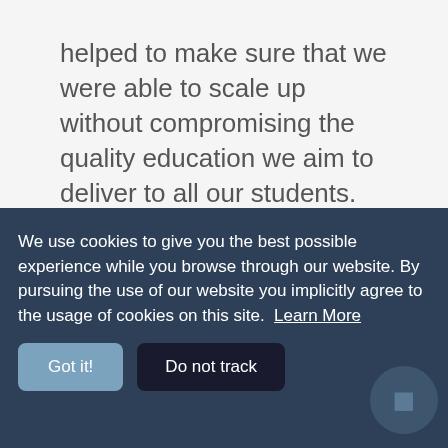helped to make sure that we were able to scale up without compromising the quality education we aim to deliver to all our students.
Just as our body needs oxygen to obtain energy to fuel all our living processes, so does the QA system fuel all our operations to
be a learning institution of... (obscured by cookie banner)
We use cookies to give you the best possible experience while you browse through our website. By pursuing the use of our website you implicitly agree to the usage of cookies on this site.  Learn More